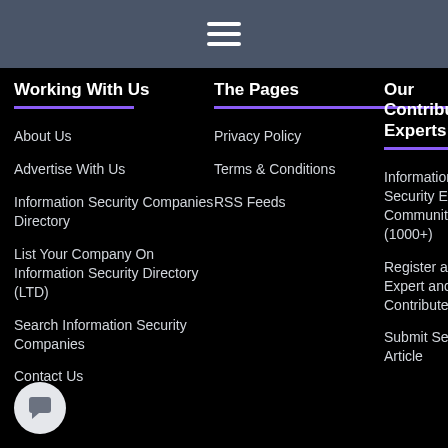[Figure (other): Navigation header bar with hamburger menu icon (three white horizontal lines on dark gray background)]
Working With Us
The Pages
Our Contributing Experts
About Us
Privacy Policy
Information Security Expert Community (1000+)
Advertise With Us
Terms & Conditions
Register as an Expert and Contribute
Information Security Companies Directory
RSS Feeds
Submit Security Article
List Your Company On Information Security Directory (LTD)
Search Information Security Companies
Contact Us